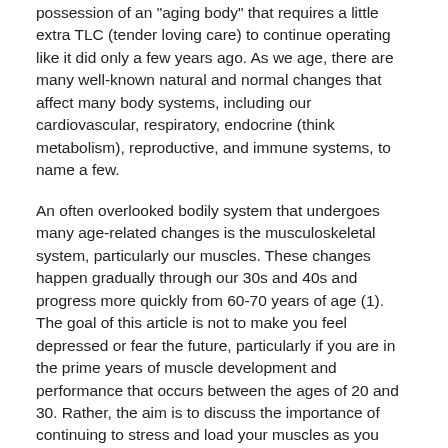possession of an "aging body" that requires a little extra TLC (tender loving care) to continue operating like it did only a few years ago. As we age, there are many well-known natural and normal changes that affect many body systems, including our cardiovascular, respiratory, endocrine (think metabolism), reproductive, and immune systems, to name a few.
An often overlooked bodily system that undergoes many age-related changes is the musculoskeletal system, particularly our muscles. These changes happen gradually through our 30s and 40s and progress more quickly from 60-70 years of age (1).  The goal of this article is not to make you feel depressed or fear the future, particularly if you are in the prime years of muscle development and performance that occurs between the ages of 20 and 30. Rather, the aim is to discuss the importance of continuing to stress and load your muscles as you age.  Sadly, running alone isn't enough!
Muscles and Aging
A muscle is made up of two different types of muscle fibers/cells or a combination of the two. These fibers function